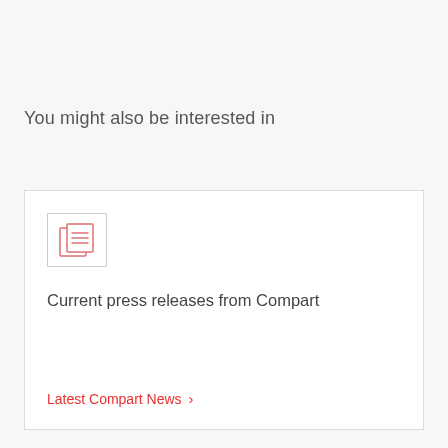You might also be interested in
[Figure (illustration): News/press release icon: two overlapping document pages with lines, rendered in red/pink outline style inside a light bordered square box]
Current press releases from Compart
Latest Compart News >